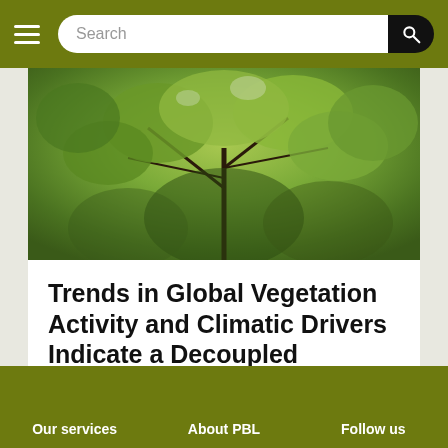Search
[Figure (photo): Aerial or canopy-level photograph of dense green tree foliage with branches visible]
Trends in Global Vegetation Activity and Climatic Drivers Indicate a Decoupled Response to Climate Change
30-12-2015 | Publication
Topic: Nature, landscapes and biodiversity
Our services   About PBL   Follow us